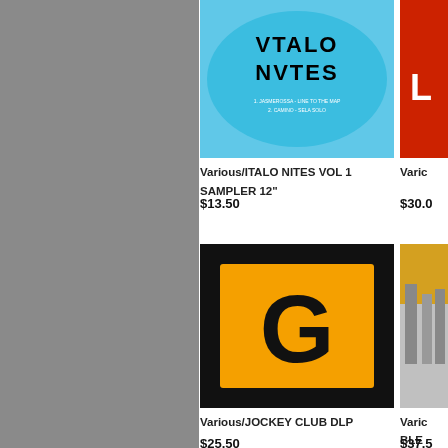[Figure (photo): Album cover for ITALO NITES VOL 1 SAMPLER 12" - blue oval with stylized text]
Various/ITALO NITES VOL 1 SAMPLER 12"
$13.50
[Figure (photo): Album cover - red background with white letter L visible]
Varic
$30.0
[Figure (logo): JOCKEY CLUB DLP - black background with orange rectangle containing bold black G letter]
Various/JOCKEY CLUB DLP
$25.50
[Figure (photo): Partial album cover with orange and city imagery - BLE visible]
Varic BLE
$37.5